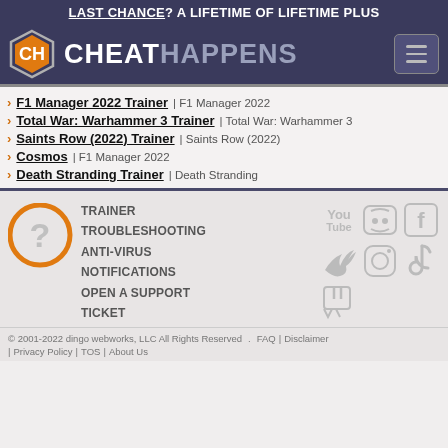LAST CHANCE? A LIFETIME OF LIFETIME PLUS
[Figure (logo): CheatHappens logo with hexagonal CH icon and site name]
F1 Manager 2022 Trainer | F1 Manager 2022
Total War: Warhammer 3 Trainer | Total War: Warhammer 3
Saints Row (2022) Trainer | Saints Row (2022)
Cosmos | F1 Manager 2022
Death Stranding Trainer | Death Stranding
TRAINER TROUBLESHOOTING ANTI-VIRUS NOTIFICATIONS OPEN A SUPPORT TICKET
[Figure (illustration): Social media icons: YouTube, Discord, Facebook, Twitter, Instagram, TikTok, Twitch]
© 2001-2022 dingo webworks, LLC All Rights Reserved . FAQ | Disclaimer | Privacy Policy | TOS | About Us